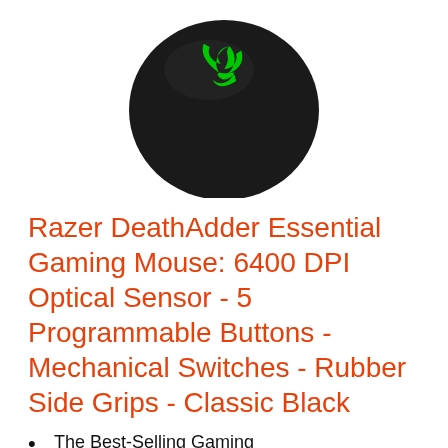[Figure (photo): Top-down view of a black Razer DeathAdder gaming mouse with a green Razer logo on a white background]
Razer DeathAdder Essential Gaming Mouse: 6400 DPI Optical Sensor - 5 Programmable Buttons - Mechanical Switches - Rubber Side Grips - Classic Black
The Best-Selling Gaming Peripherals Manufacturer in the US: